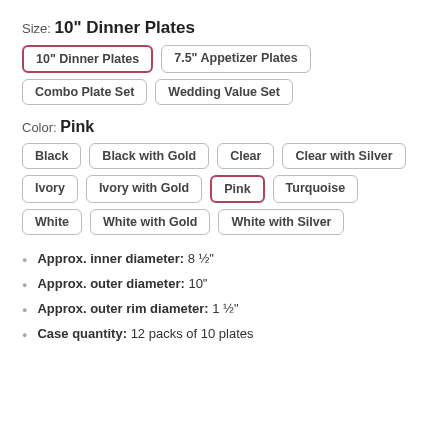Size: 10" Dinner Plates
10" Dinner Plates (selected)
7.5" Appetizer Plates
Combo Plate Set
Wedding Value Set
Color: Pink
Black
Black with Gold
Clear
Clear with Silver
Ivory
Ivory with Gold
Pink (selected)
Turquoise
White
White with Gold
White with Silver
Approx. inner diameter: 8 ½"
Approx. outer diameter: 10"
Approx. outer rim diameter: 1 ½"
Case quantity: 12 packs of 10 plates